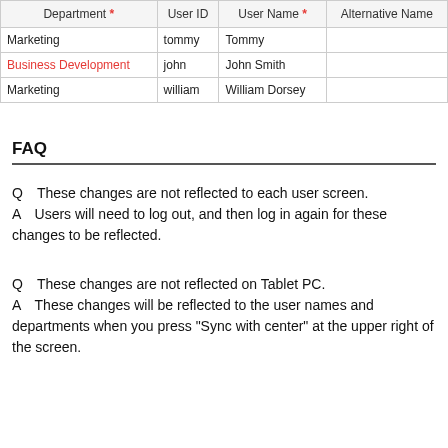| Department * | User ID | User Name * | Alternative Name |
| --- | --- | --- | --- |
| Marketing | tommy | Tommy |  |
| Business Development | john | John Smith |  |
| Marketing | william | William Dorsey |  |
FAQ
Q　These changes are not reflected to each user screen.
A　Users will need to log out, and then log in again for these changes to be reflected.
Q　These changes are not reflected on Tablet PC.
A　These changes will be reflected to the user names and departments when you press "Sync with center" at the upper right of the screen.